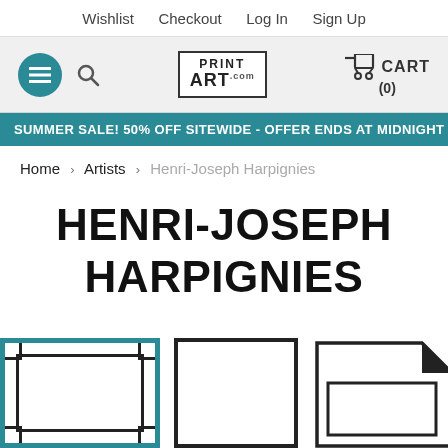Wishlist  Checkout  Log In  Sign Up
[Figure (screenshot): Website header with hamburger menu button (teal circle), search icon, PrintArt.com logo in a box, and CART (0) with cart icon]
SUMMER SALE! 50% OFF SITEWIDE - OFFER ENDS AT MIDNIGHT
Home > Artists > Henri-Joseph Harpignies
HENRI-JOSEPH HARPIGNIES
[Figure (illustration): Three framing/print option icons at the bottom: a teal-bordered frame, a plain black-bordered frame, and a document with folded corner]